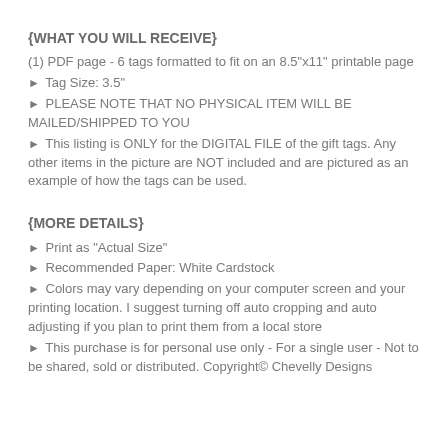{WHAT YOU WILL RECEIVE}
(1) PDF page - 6 tags formatted to fit on an 8.5"x11" printable page
► Tag Size: 3.5"
► PLEASE NOTE THAT NO PHYSICAL ITEM WILL BE MAILED/SHIPPED TO YOU
► This listing is ONLY for the DIGITAL FILE of the gift tags. Any other items in the picture are NOT included and are pictured as an example of how the tags can be used.
{MORE DETAILS}
► Print as "Actual Size"
► Recommended Paper: White Cardstock
► Colors may vary depending on your computer screen and your printing location. I suggest turning off auto cropping and auto adjusting if you plan to print them from a local store
► This purchase is for personal use only - For a single user - Not to be shared, sold or distributed. Copyright© Chevelly Designs